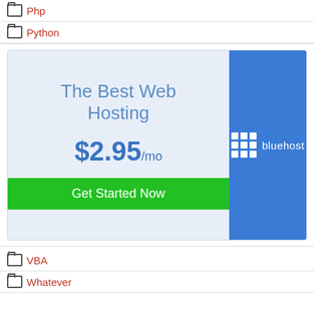Php
Python
[Figure (infographic): Bluehost web hosting advertisement banner showing 'The Best Web Hosting' for $2.95/mo with a Get Started Now button and Bluehost logo on blue background]
VBA
Whatever